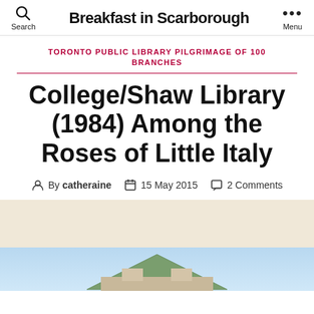Breakfast in Scarborough
TORONTO PUBLIC LIBRARY PILGRIMAGE OF 100 BRANCHES
College/Shaw Library (1984) Among the Roses of Little Italy
By catheraine  15 May 2015  2 Comments
[Figure (photo): Partial view of a library building rooftop against a light blue sky, with a beige/cream background section above]